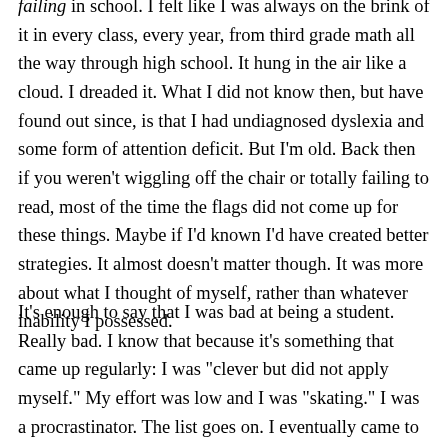failing in school. I felt like I was always on the brink of it in every class, every year, from third grade math all the way through high school. It hung in the air like a cloud. I dreaded it. What I did not know then, but have found out since, is that I had undiagnosed dyslexia and some form of attention deficit. But I'm old. Back then if you weren't wiggling off the chair or totally failing to read, most of the time the flags did not come up for these things. Maybe if I'd known I'd have created better strategies. It almost doesn't matter though. It was more about what I thought of myself, rather than whatever inability I possessed.
It's enough to say that I was bad at being a student. Really bad. I know that because it's something that came up regularly: I was "clever but did not apply myself." My effort was low and I was "skating." I was a procrastinator. The list goes on. I eventually came to expect that, on some level, I'd always be on the verge